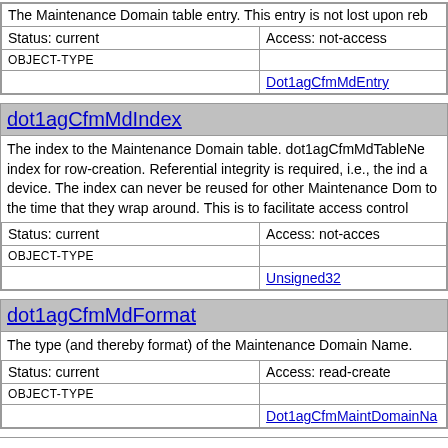| The Maintenance Domain table entry. This entry is not lost upon reb |  |
| Status: current | Access: not-access |
| OBJECT-TYPE |  |
|  | Dot1agCfmMdEntry |
dot1agCfmMdIndex
The index to the Maintenance Domain table. dot1agCfmMdTableNe index for row-creation. Referential integrity is required, i.e., the ind a device. The index can never be reused for other Maintenance Dom to the time that they wrap around. This is to facilitate access control
| Status: current | Access: not-acces |
| OBJECT-TYPE |  |
|  | Unsigned32 |
dot1agCfmMdFormat
The type (and thereby format) of the Maintenance Domain Name.
| Status: current | Access: read-create |
| OBJECT-TYPE |  |
|  | Dot1agCfmMaintDomainNa |